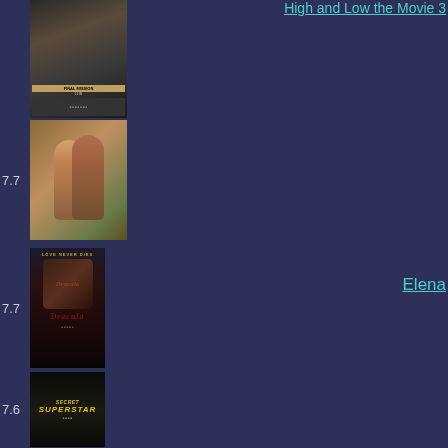7.7 - High and Low the Movie 3 (partial, top)
[Figure (photo): Movie poster for High and Low Final Mission, partially visible at top]
7.7 - Elena
[Figure (photo): Movie poster/still for Elena showing two people in close embrace]
7.7 - Bram Stokers Dracula
[Figure (photo): Movie poster for Bram Stokers Dracula with Love Never Dies tagline and monster face]
7.6 - Secret Superstar
[Figure (photo): Movie poster for Secret Superstar (Gujarati/Hindi film)]
7.6 - The Negotiator
[Figure (photo): Movie poster/cover for The Negotiator showing two actors]